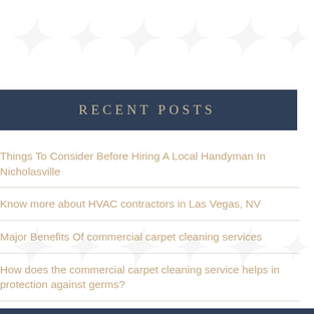RECENT POSTS
Things To Consider Before Hiring A Local Handyman In Nicholasville
Know more about HVAC contractors in Las Vegas, NV
Major Benefits Of commercial carpet cleaning services
How does the commercial carpet cleaning service helps in protection against germs?
Why Choose A veteran franchise?